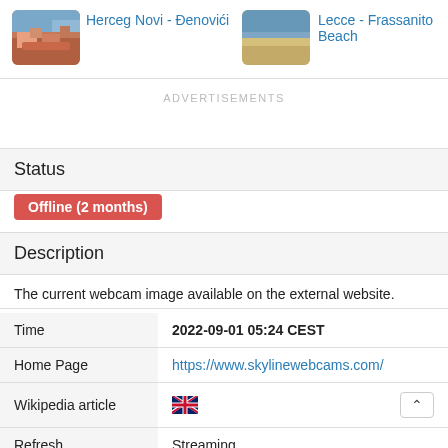[Figure (photo): Thumbnail of Herceg Novi - Đenovići webcam location showing rooftops and coastline]
Herceg Novi - Đenovići
[Figure (photo): Thumbnail of Lecce - Frassanito Beach webcam showing beach and sea]
Lecce - Frassanito Beach
ADVERTISEMENTS
Status
Offline (2 months)
Description
The current webcam image available on the external website.
|  |  |
| --- | --- |
| Time | 2022-09-01 05:24 CEST |
| Home Page | https://www.skylinewebcams.com/ |
| Wikipedia article | 🇬🇧 ∧ |
| Refresh | Streaming |